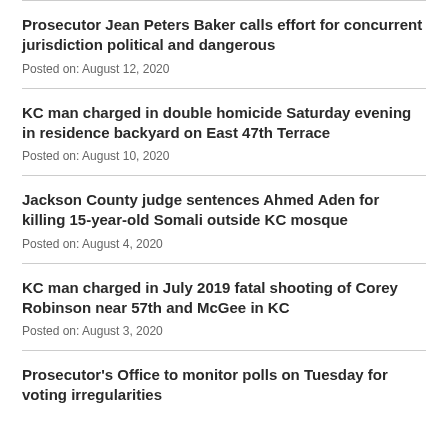Prosecutor Jean Peters Baker calls effort for concurrent jurisdiction political and dangerous
Posted on: August 12, 2020
KC man charged in double homicide Saturday evening in residence backyard on East 47th Terrace
Posted on: August 10, 2020
Jackson County judge sentences Ahmed Aden for killing 15-year-old Somali outside KC mosque
Posted on: August 4, 2020
KC man charged in July 2019 fatal shooting of Corey Robinson near 57th and McGee in KC
Posted on: August 3, 2020
Prosecutor's Office to monitor polls on Tuesday for voting irregularities